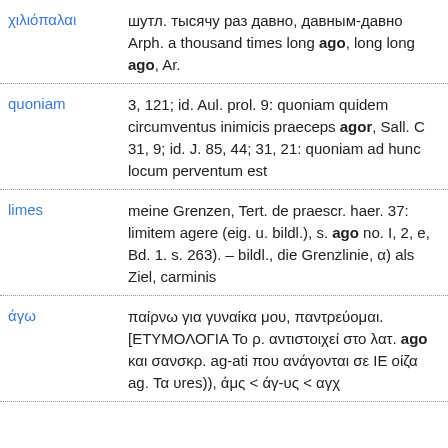χιλιόπαλαι — шутл. тысячу раз давно, давным-давно Arph. a thousand times long ago, long long ago, Ar.
quoniam — 3, 121; id. Aul. prol. 9: quoniam quidem circumventus inimicis praeceps agor, Sall. C 31, 9; id. J. 85, 44; 31, 21: quoniam ad hunc locum perventum est
limes — meine Grenzen, Tert. de praescr. haer. 37: limitem agere (eig. u. bildl.), s. ago no. I, 2, e, Bd. 1. s. 263). – bildl., die Grenzlinie, α) als Ziel, carminis
άγω — παίρνω για γυναίκα μου, παντρεύομαι. [ΕΤΥΜΟΛΟΓΙΑ Το ρ. αντιστοιχεί στο λατ. ago και σανσκρ. ag-ati που ανάγονται σε IE οίζα ag. Τα υres)), άμς < άγ-υς < αγχ